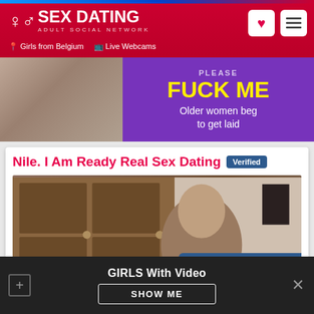[Figure (screenshot): Sex Dating adult social network website header with logo, navigation icons, Girls from Belgium and Live Webcams links]
[Figure (photo): Adult dating site advertisement banner with photo and purple background text: FUCK ME - Older women beg to get laid]
Nile. I Am Ready Real Sex Dating Verified
[Figure (photo): Profile photo of a young woman with brown hair in front of wooden doors, with callout bubble: Fuck vip girls in Ostend]
GIRLS With Video
SHOW ME